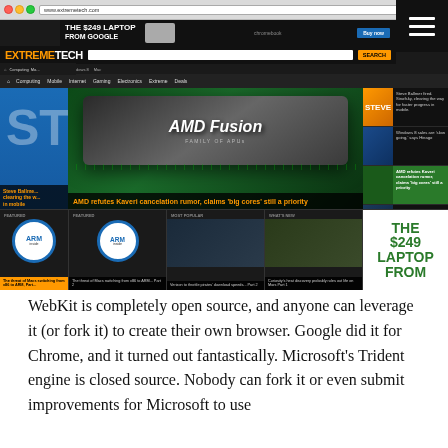[Figure (screenshot): Screenshot of ExtremeTech website showing browser chrome with address bar, site header with logo and search, navigation bar with Computing, Mobile, Internet, Gaming, Electronics, Extreme, Deals links. Main content shows AMD Fusion chip hero image with headline 'AMD refutes Kaveri cancelation rumor, claims big cores still a priority', right sidebar with news items including Steve Ballmer story, Windows 8 story, AMD story, Strike story, Wii U story. Below are featured article thumbnails with ARM inside logos and article previews. Advertisement banner 'THE $249 LAPTOP FROM GOOGLE' visible at top and bottom right.]
WebKit is completely open source, and anyone can leverage it (or fork it) to create their own browser. Google did it for Chrome, and it turned out fantastically. Microsoft's Trident engine is closed source. Nobody can fork it or even submit improvements for Microsoft to use